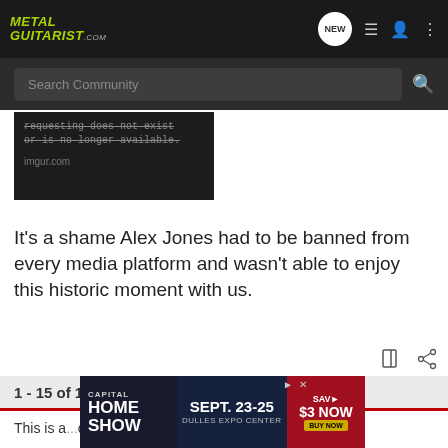METAL GUITARIST.com
[Figure (screenshot): Search Community bar with magnifying glass icon on dark background]
[Figure (screenshot): Imgur error block: 'requesting does not exist or is no longer available. imgur.com' on dark background]
It's a shame Alex Jones had to be banned from every media platform and wasn't able to enjoy this historic moment with us.
1 - 15 of 15 Posts
This is a ...ould be reviving...
[Figure (screenshot): Capital Home Show advertisement: SEPT. 23-25, DULLES EXPO CENTER, SAV $3 NOW BUY NOW]